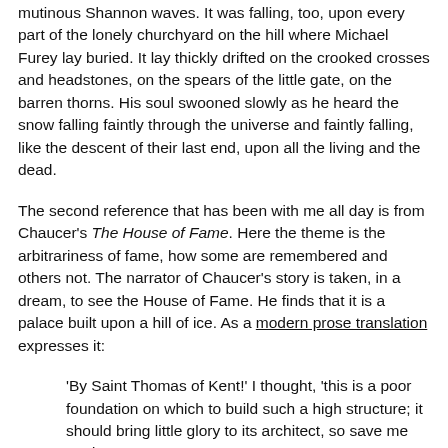mutinous Shannon waves. It was falling, too, upon every part of the lonely churchyard on the hill where Michael Furey lay buried. It lay thickly drifted on the crooked crosses and headstones, on the spears of the little gate, on the barren thorns. His soul swooned slowly as he heard the snow falling faintly through the universe and faintly falling, like the descent of their last end, upon all the living and the dead.
The second reference that has been with me all day is from Chaucer's The House of Fame. Here the theme is the arbitrariness of fame, how some are remembered and others not. The narrator of Chaucer's story is taken, in a dream, to see the House of Fame. He finds that it is a palace built upon a hill of ice. As a modern prose translation expresses it:
'By Saint Thomas of Kent!' I thought, 'this is a poor foundation on which to build such a high structure; it should bring little glory to its architect, so save me God!'